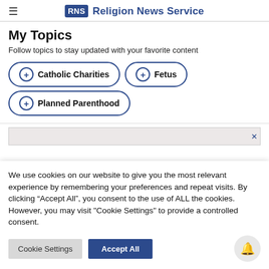≡ RNS Religion News Service
My Topics
Follow topics to stay updated with your favorite content
+ Catholic Charities
+ Fetus
+ Planned Parenthood
[Figure (other): Advertisement banner with close button]
We use cookies on our website to give you the most relevant experience by remembering your preferences and repeat visits. By clicking "Accept All", you consent to the use of ALL the cookies. However, you may visit "Cookie Settings" to provide a controlled consent.